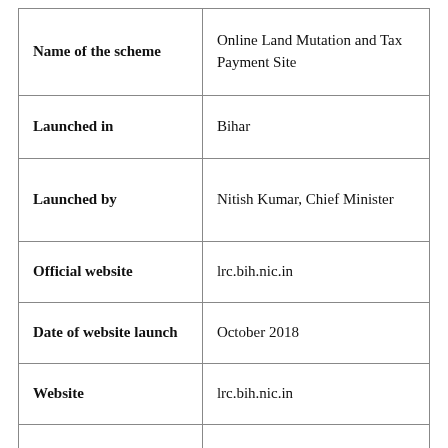| Field | Value |
| --- | --- |
| Name of the scheme | Online Land Mutation and Tax Payment Site |
| Launched in | Bihar |
| Launched by | Nitish Kumar, Chief Minister |
| Official website | lrc.bih.nic.in |
| Date of website launch | October 2018 |
| Website | lrc.bih.nic.in |
| Supervised by | Bihar Land Revenue Department |
| Helpline Toll Free Number | 18003456215 |